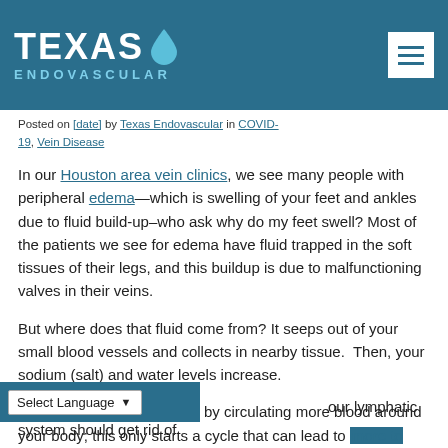[Figure (logo): Texas Endovascular logo with blue droplet icon on teal/dark blue header bar]
Posted on [date] by Texas Endovascular in COVID-19, Vein Disease
In our Houston area vein clinics, we see many people with peripheral edema—which is swelling of your feet and ankles due to fluid build-up–who ask why do my feet swell? Most of the patients we see for edema have fluid trapped in the soft tissues of their legs, and this buildup is due to malfunctioning valves in their veins.
But where does that fluid come from? It seeps out of your small blood vessels and collects in nearby tissue. Then, your sodium (salt) and water levels increase.
Next, your kidneys respond by circulating more blood around your body; this only starts a cycle that can lead to more to more build-up and increased swelling. Now, when things work normally, your lymphatic system should get rid of